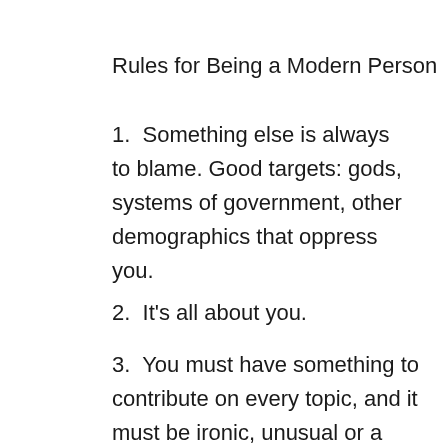Rules for Being a Modern Person
1.  Something else is always to blame. Good targets: gods, systems of government, other demographics that oppress you.
2.  It's all about you.
3.  You must have something to contribute on every topic, and it must be ironic, unusual or a unique combination or you're not